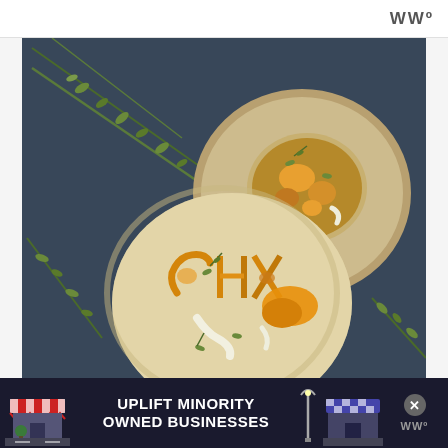WWº
[Figure (photo): Overhead view of two round chicken pot pies on a dark blue slate surface with fresh thyme sprigs. The front pie has 'CHX' cut into the golden pastry crust with filling bubbling through. The back pie is open-topped showing chunky filling with thyme garnish.]
[Figure (infographic): Advertisement banner: dark navy background with a red and white striped awning store on the left, text 'UPLIFT MINORITY OWNED BUSINESSES' in bold white letters in center, a lamppost icon, blue and white checkered store on the right with close X buttons, and WWº logo.]